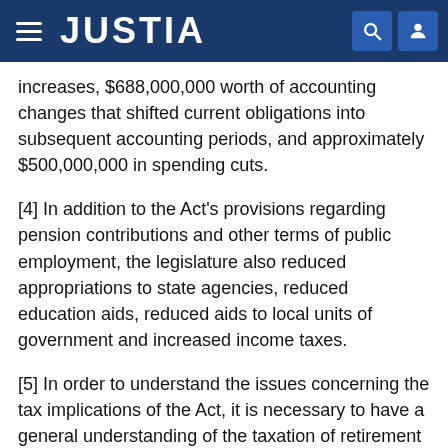JUSTIA
increases, $688,000,000 worth of accounting changes that shifted current obligations into subsequent accounting periods, and approximately $500,000,000 in spending cuts.
[4] In addition to the Act's provisions regarding pension contributions and other terms of public employment, the legislature also reduced appropriations to state agencies, reduced education aids, reduced aids to local units of government and increased income taxes.
[5] In order to understand the issues concerning the tax implications of the Act, it is necessary to have a general understanding of the taxation of retirement plans. The subject public employee pension plans have long been treated as "qualified" pension plans within the meaning of I.R.C. § 401. Qualified retirement plans have very favorable tax consequences. The qualified plans at issue...